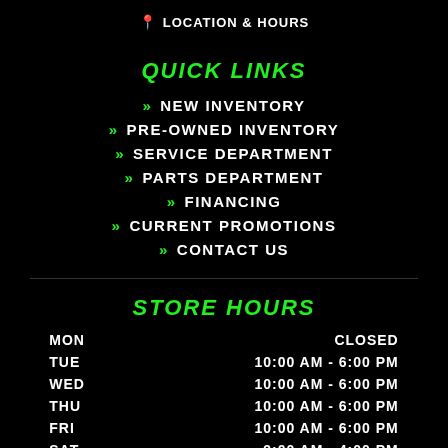📍 LOCATION & HOURS
QUICK LINKS
» NEW INVENTORY
» PRE-OWNED INVENTORY
» SERVICE DEPARTMENT
» PARTS DEPARTMENT
» FINANCING
» CURRENT PROMOTIONS
» CONTACT US
STORE HOURS
| Day | Hours |
| --- | --- |
| MON | CLOSED |
| TUE | 10:00 AM - 6:00 PM |
| WED | 10:00 AM - 6:00 PM |
| THU | 10:00 AM - 6:00 PM |
| FRI | 10:00 AM - 6:00 PM |
| SAT | 9:00 AM - 4:00 PM |
| SUN | CLOSED |